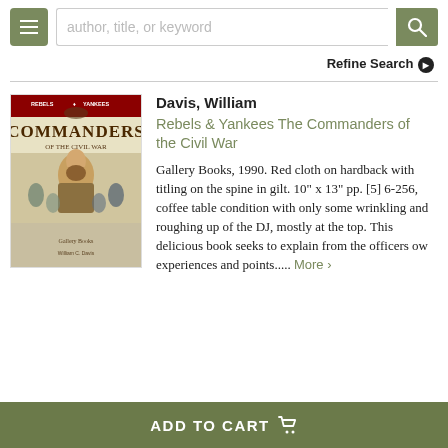author, title, or keyword
Refine Search ❯
[Figure (photo): Book cover of Rebels & Yankees The Commanders of the Civil War by William Davis, showing a Civil War officer portrait on the cover]
Davis, William
Rebels & Yankees The Commanders of the Civil War
Gallery Books, 1990. Red cloth on hardback with titling on the spine in gilt. 10" x 13" pp. [5] 6-256, coffee table condition with only some wrinkling and roughing up of the DJ, mostly at the top. This delicious book seeks to explain from the officers ow experiences and points..... More ›
ADD TO CART